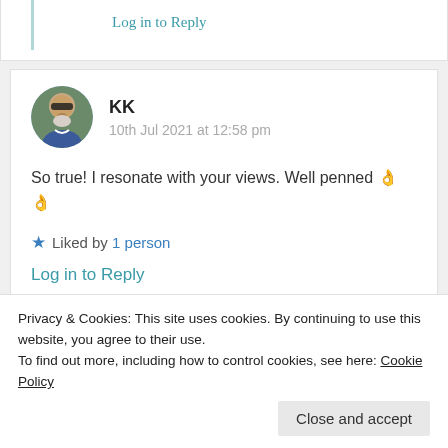Log in to Reply
KK
10th Jul 2021 at 12:58 pm
So true! I resonate with your views. Well penned 👌 👌
★ Liked by 1 person
Log in to Reply
Privacy & Cookies: This site uses cookies. By continuing to use this website, you agree to their use.
To find out more, including how to control cookies, see here: Cookie Policy
Close and accept